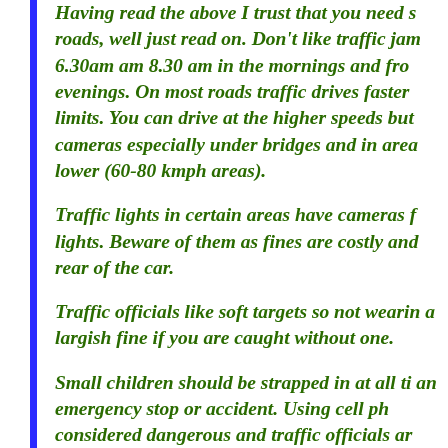Having read the above I trust that you need s roads, well just read on. Don't like traffic jam 6.30am am 8.30 am in the mornings and fro evenings. On most roads traffic drives faster limits. You can drive at the higher speeds but cameras especially under bridges and in area lower (60-80 kmph areas).
Traffic lights in certain areas have cameras f lights. Beware of them as fines are costly and rear of the car.
Traffic officials like soft targets so not wearin a largish fine if you are caught without one.
Small children should be strapped in at all ti an emergency stop or accident. Using cell ph considered dangerous and traffic officials ar driving and fines can be significant for d